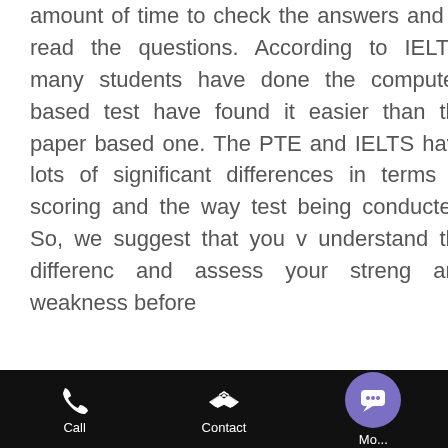amount of time to check the answers and to read the questions. According to IELTS, many students have done the computer-based test have found it easier than the paper based one. The PTE and IELTS have lots of significant differences in terms of scoring and the way test being conducted, So, we suggest that you v understand the differenc and assess your streng and weakness before
[Figure (screenshot): Chat popup with avatar photo of a woman, close button (X), and message text: 'Got any questions? I'm happy to help.']
[Figure (screenshot): Mobile bottom navigation bar with black background. Three items: Call (phone icon), Contact (handshake icon), and a purple circular chat bubble button on the right partially labeled 'Mo...']